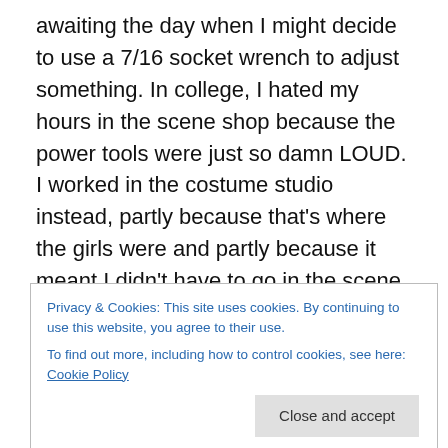awaiting the day when I might decide to use a 7/16 socket wrench to adjust something. In college, I hated my hours in the scene shop because the power tools were just so damn LOUD. I worked in the costume studio instead, partly because that's where the girls were and partly because it meant I didn't have to go in the scene shop. I went out of my way to avoid learning any more about tools than I absolutely had to. I was gonna be an actor, dammit, I didn't NEED to know how to do anything else!
Cracks me up.
Privacy & Cookies: This site uses cookies. By continuing to use this website, you agree to their use.
To find out more, including how to control cookies, see here: Cookie Policy
waiting tables at a shitty Tex-Mex restaurant, drinking way